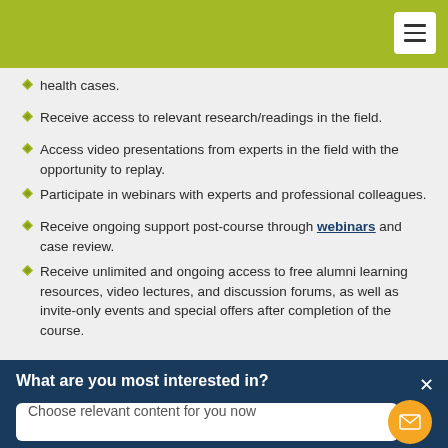health cases.
Receive access to relevant research/readings in the field.
Access video presentations from experts in the field with the opportunity to replay.
Participate in webinars with experts and professional colleagues.
Receive ongoing support post-course through webinars and case review.
Receive unlimited and ongoing access to free alumni learning resources, video lectures, and discussion forums, as well as invite-only events and special offers after completion of the course.
What are you most interested in?
Choose relevant content for you now